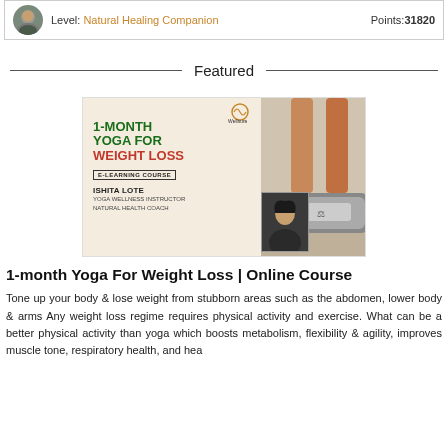Level: Natural Healing Companion  Points:31820
Featured
[Figure (illustration): 1-Month Yoga For Weight Loss E-Learning Course advertisement image featuring text on the left side with Wellsure logo, and a photo of feet on a weight scale on the right, with a small portrait photo of instructor Ishita Lote, Yoga Wellness Instructor, Natural Health Coach]
1-month Yoga For Weight Loss | Online Course
Tone up your body & lose weight from stubborn areas such as the abdomen, lower body & arms Any weight loss regime requires physical activity and exercise. What can be a better physical activity than yoga which boosts metabolism, flexibility & agility, improves muscle tone, respiratory health, and hea